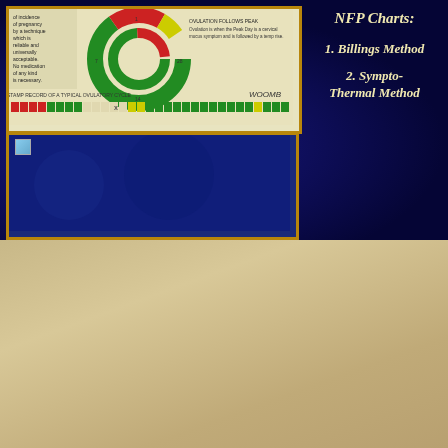[Figure (infographic): NFP Billings Method ovulatory cycle chart with colored wheel and colored day strip at bottom]
[Figure (photo): Sympto-Thermal Method NFP chart image placeholder on dark blue background]
NFP Charts:
1. Billings Method
2. Sympto-Thermal Method
Certainly, there may be serious reasons for spacing offspring; these may be based:
[1] on the physical
[2] or psychological
Si igitur iustae adsint causae generationes subsequentes in-tervallandi, quae a